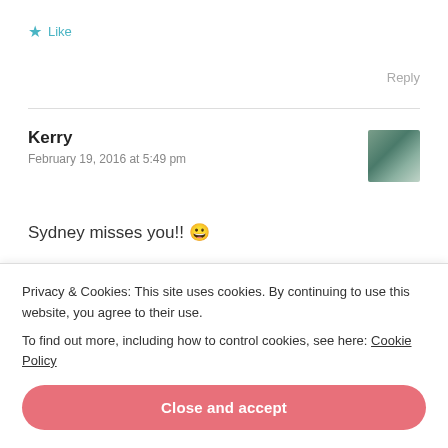★ Like
Reply
Kerry
February 19, 2016 at 5:49 pm
[Figure (photo): Small avatar photo of a person wearing a cap, outdoors]
Sydney misses you!! 😀
★ Like
Privacy & Cookies: This site uses cookies. By continuing to use this website, you agree to their use.
To find out more, including how to control cookies, see here: Cookie Policy
Close and accept